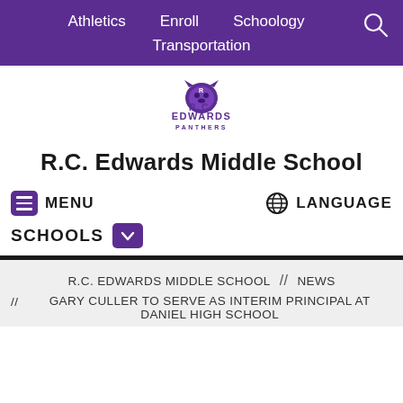Athletics   Enroll   Schoology   Transportation
[Figure (logo): R.C. Edwards Panthers school logo — purple panther mascot with text R.C. EDWARDS PANTHERS]
R.C. Edwards Middle School
≡ MENU
🌐 LANGUAGE
SCHOOLS ∨
R.C. EDWARDS MIDDLE SCHOOL   //   NEWS
//   GARY CULLER TO SERVE AS INTERIM PRINCIPAL AT DANIEL HIGH SCHOOL